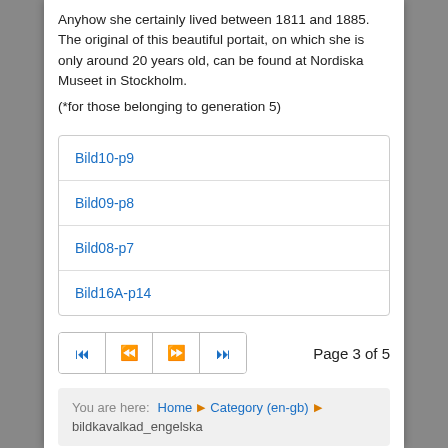Anyhow she certainly lived between 1811 and 1885. The original of this beautiful portait, on which she is only around 20 years old, can be found at Nordiska Museet in Stockholm.
(*for those belonging to generation 5)
| Bild10-p9 |
| Bild09-p8 |
| Bild08-p7 |
| Bild16A-p14 |
Page 3 of 5
You are here: Home ▶ Category (en-gb) ▶ bildkavalkad_engelska